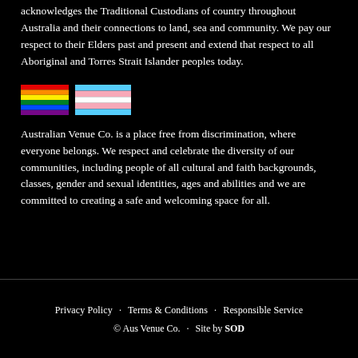acknowledges the Traditional Custodians of country throughout Australia and their connections to land, sea and community. We pay our respect to their Elders past and present and extend that respect to all Aboriginal and Torres Strait Islander peoples today.
[Figure (illustration): Pride rainbow flag and transgender pride flag side by side]
Australian Venue Co. is a place free from discrimination, where everyone belongs. We respect and celebrate the diversity of our communities, including people of all cultural and faith backgrounds, classes, gender and sexual identities, ages and abilities and we are committed to creating a safe and welcoming space for all.
Privacy Policy · Terms & Conditions · Responsible Service © Aus Venue Co. · Site by SOD